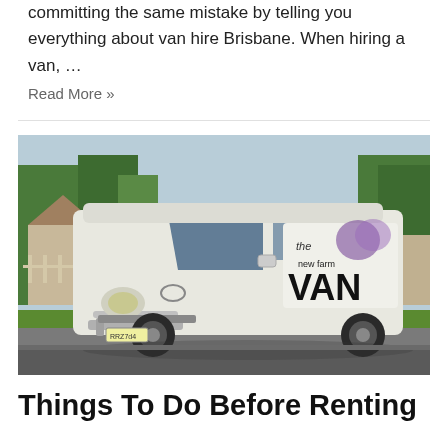out to be their nightmare. So, we really want to save you from committing the same mistake by telling you everything about van hire Brisbane. When hiring a van, …
Read More »
[Figure (photo): A white Toyota HiAce van with 'the new farm VAN' branding parked on a suburban street with trees and houses in the background.]
Things To Do Before Renting